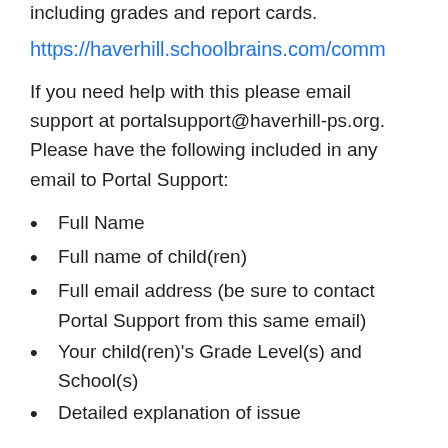including grades and report cards.
https://haverhill.schoolbrains.com/comm
If you need help with this please email support at portalsupport@haverhill-ps.org. Please have the following included in any email to Portal Support:
Full Name
Full name of child(ren)
Full email address (be sure to contact Portal Support from this same email)
Your child(ren)'s Grade Level(s) and School(s)
Detailed explanation of issue